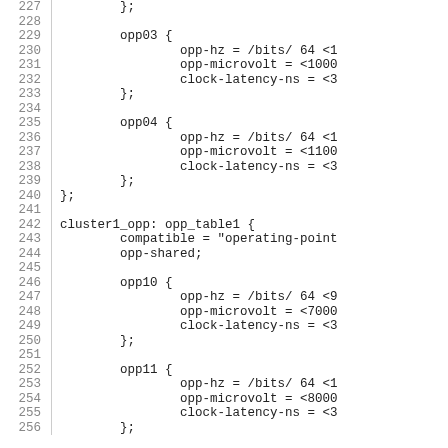Code listing lines 227-256 showing device tree opp_table entries for cluster1_opp with opp03, opp04, opp10, opp11 nodes including opp-hz, opp-microvolt, and clock-latency-ns properties.